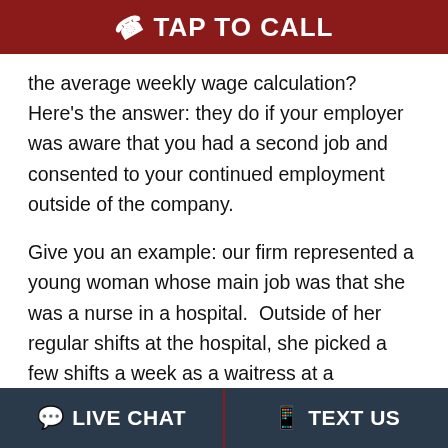TAP TO CALL
the average weekly wage calculation?  Here's the answer: they do if your employer was aware that you had a second job and consented to your continued employment outside of the company.
Give you an example: our firm represented a young woman whose main job was that she was a nurse in a hospital.  Outside of her regular shifts at the hospital, she picked a few shifts a week as a waitress at a restaurant in order to help pay off some of her student loan debt.  Her average weekly wage at the hospital was over $1,000 per week, while she made
LIVE CHAT   TEXT US